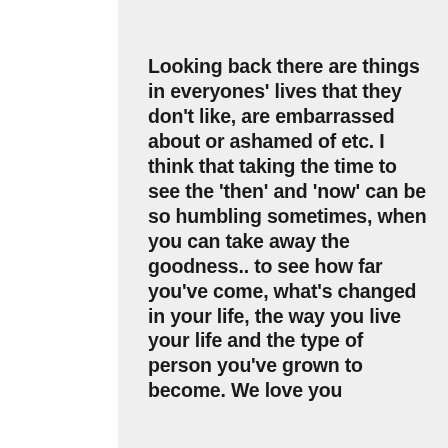Looking back there are things in everyones' lives that they don't like, are embarrassed about or ashamed of etc. I think that taking the time to see the 'then' and 'now' can be so humbling sometimes, when you can take away the goodness.. to see how far you've come, what's changed in your life, the way you live your life and the type of person you've grown to become. We love you